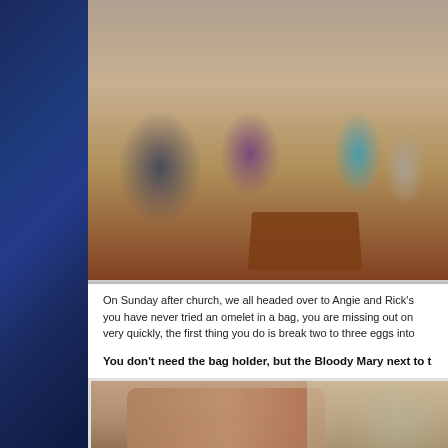[Figure (photo): Four people sitting at a restaurant table, smiling at the camera. Two men and two women. Restaurant interior with lamps and bar visible in background.]
On Sunday after church, we all headed over to Angie and Rick's you have never tried an omelet in a bag, you are missing out on very quickly, the first thing you do is break two to three eggs into
You don't need the bag holder, but the Bloody Mary next to t
[Figure (photo): Close-up of hands cracking eggs, with outdoor seating area visible in the background.]